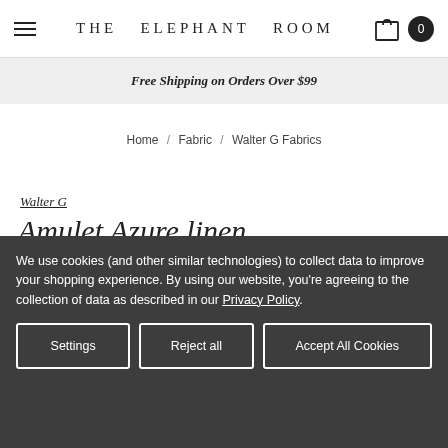THE ELEPHANT ROOM
Free Shipping on Orders Over $99
Home / Fabric / Walter G Fabrics
Walter G
Amulet Azure linen
We use cookies (and other similar technologies) to collect data to improve your shopping experience. By using our website, you're agreeing to the collection of data as described in our Privacy Policy.
Settings | Reject all | Accept All Cookies